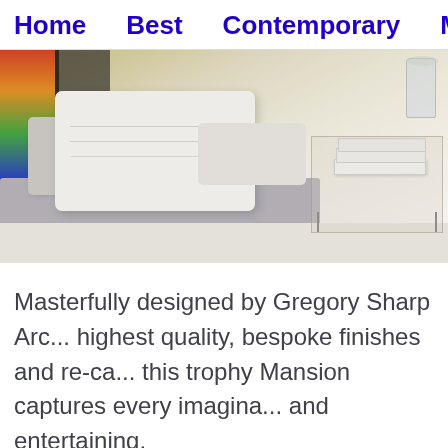Home   Best   Contemporary   Mod
[Figure (photo): Interior design photo showing a contemporary living room with a light gray sofa, white pillows, abstract colorful artwork on the left wall, and a glass coffee table with stacked white books and a vase on the right side.]
Masterfully designed by Gregory Sharp Arc... highest quality, bespoke finishes and re-ca... this trophy Mansion captures every imagina... and entertaining.